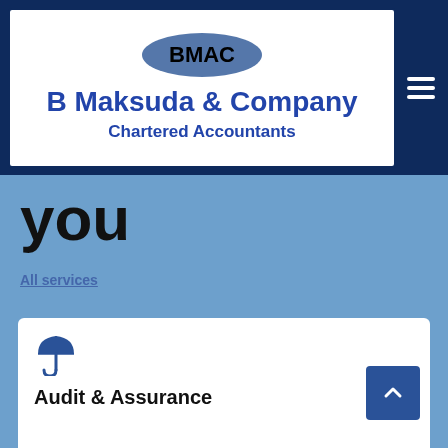[Figure (logo): BMAC oval logo with text B Maksuda & Company Chartered Accountants on white background, with dark navy border and hamburger menu icon]
you
All services
[Figure (illustration): Umbrella icon in dark blue]
Audit & Assurance